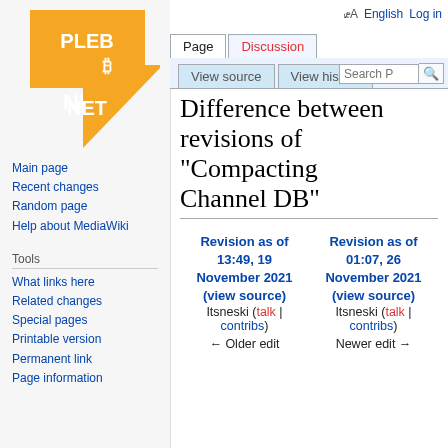[Figure (logo): PlebNet orange lightning bolt logo with Bitcoin symbol]
Main page
Recent changes
Random page
Help about MediaWiki
Tools
What links here
Related changes
Special pages
Printable version
Permanent link
Page information
English  Log in
Difference between revisions of "Compacting Channel DB"
| Revision as of 13:49, 19 November 2021 (view source) | Revision as of 01:07, 26 November 2021 (view source) |
| --- | --- |
| Itsneski (talk | contribs) | Itsneski (talk | contribs) |
| ← Older edit | Newer edit → |